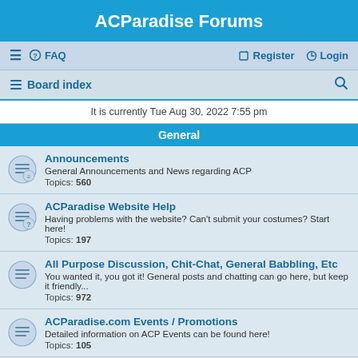ACParadise Forums
≡  FAQ    Register  Login
Board index  [search icon]
It is currently Tue Aug 30, 2022 7:55 pm
General
Announcements
General Announcements and News regarding ACP
Topics: 560
ACParadise Website Help
Having problems with the website? Can't submit your costumes? Start here!
Topics: 197
All Purpose Discussion, Chit-Chat, General Babbling, Etc
You wanted it, you got it! General posts and chatting can go here, but keep it friendly...
Topics: 972
ACParadise.com Events / Promotions
Detailed information on ACP Events can be found here!
Topics: 105
Costumes
New Cosplayers or just New to ACP